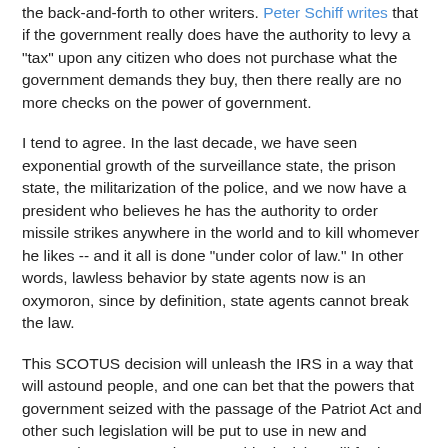the back-and-forth to other writers. Peter Schiff writes that if the government really does have the authority to levy a "tax" upon any citizen who does not purchase what the government demands they buy, then there really are no more checks on the power of government.
I tend to agree. In the last decade, we have seen exponential growth of the surveillance state, the prison state, the militarization of the police, and we now have a president who believes he has the authority to order missile strikes anywhere in the world and to kill whomever he likes -- and it all is done "under color of law." In other words, lawless behavior by state agents now is an oxymoron, since by definition, state agents cannot break the law.
This SCOTUS decision will unleash the IRS in a way that will astound people, and one can bet that the powers that government seized with the passage of the Patriot Act and other such legislation will be put to use in new and oppressive ways. Furthermore, this decision will further unleash to power of federal prosecutors to criminalize just about anything they choose.